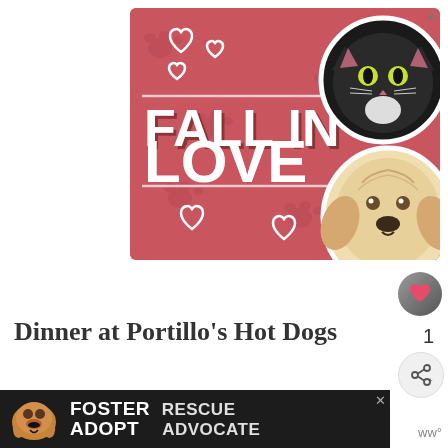[Figure (illustration): Pet adoption advertisement with pink background showing 'FALL IN LOVE' text with heart decorations, a black and white cat sticker in top right, and a fluffy cream-colored dog sticker in bottom right. Close X button in top right corner.]
[Figure (logo): Circular icon with heart symbol, appears to be a favorites/save button]
Dinner at Portillo’s Hot Dogs
1
[Figure (logo): Share button with plus icon]
Chic...
[Figure (illustration): Bottom banner ad: FOSTER ADOPT / RESCUE ADVOCATE with beagle dog image, dark background with close X button]